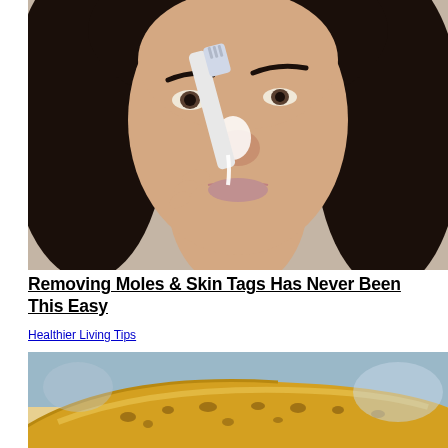[Figure (photo): Woman applying white cream to her nose with a toothbrush, dark curly hair, close-up beauty/skincare tutorial photo]
Removing Moles & Skin Tags Has Never Been This Easy
Healthier Living Tips
[Figure (photo): Close-up photo of a ripe spotted banana on a table, blurred background]